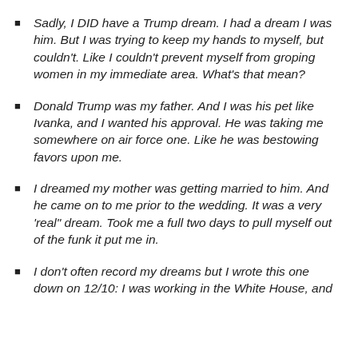Sadly, I DID have a Trump dream. I had a dream I was him. But I was trying to keep my hands to myself, but couldn't. Like I couldn't prevent myself from groping women in my immediate area. What's that mean?
Donald Trump was my father. And I was his pet like Ivanka, and I wanted his approval. He was taking me somewhere on air force one. Like he was bestowing favors upon me.
I dreamed my mother was getting married to him. And he came on to me prior to the wedding. It was a very 'real" dream. Took me a full two days to pull myself out of the funk it put me in.
I don't often record my dreams but I wrote this one down on 12/10: I was working in the White House, and